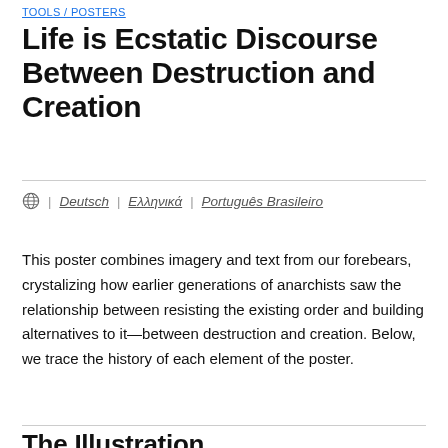TOOLS / POSTERS
Life is Ecstatic Discourse Between Destruction and Creation
Deutsch | Ελληνικά | Português Brasileiro
This poster combines imagery and text from our forebears, crystalizing how earlier generations of anarchists saw the relationship between resisting the existing order and building alternatives to it—between destruction and creation. Below, we trace the history of each element of the poster.
The Illustration